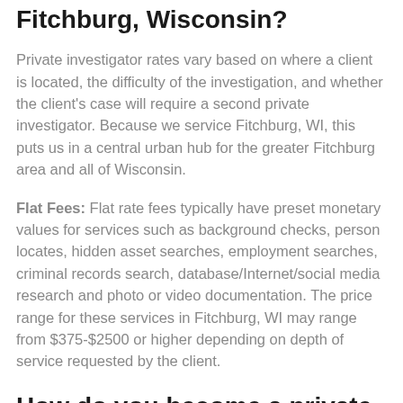Fitchburg, Wisconsin?
Private investigator rates vary based on where a client is located, the difficulty of the investigation, and whether the client's case will require a second private investigator. Because we service Fitchburg, WI, this puts us in a central urban hub for the greater Fitchburg area and all of Wisconsin.
Flat Fees: Flat rate fees typically have preset monetary values for services such as background checks, person locates, hidden asset searches, employment searches, criminal records search, database/Internet/social media research and photo or video documentation. The price range for these services in Fitchburg, WI may range from $375-$2500 or higher depending on depth of service requested by the client.
How do you become a private investigator in